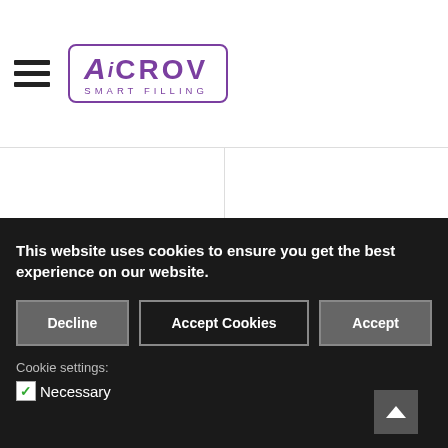[Figure (logo): AiCrov Smart Filling logo in purple with rounded rectangle border]
This website uses cookies to ensure you get the best experience on our website.
Decline | Accept Cookies | Accept
Cookie settings:
✓Necessary